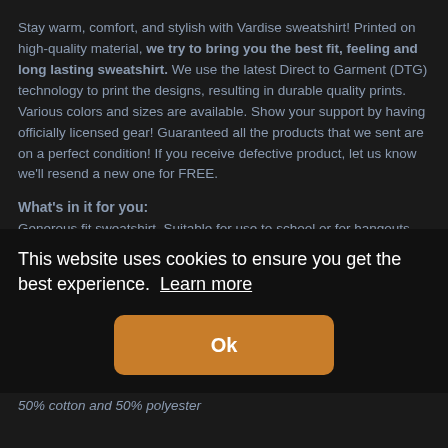Stay warm, comfort, and stylish with Vardise sweatshirt! Printed on high-quality material, we try to bring you the best fit, feeling and long lasting sweatshirt. We use the latest Direct to Garment (DTG) technology to print the designs, resulting in durable quality prints. Various colors and sizes are available. Show your support by having officially licensed gear! Guaranteed all the products that we sent are on a perfect condition! If you receive defective product, let us know we'll resend a new one for FREE.
What's in it for you:
Generous fit sweatshirt. Suitable for use to school or for hangouts.
Double-needle stitching makes it more durable.
Wear it yourself or surprise your friend!
Suitable to be worn during winter time
Built to lasts – long lasting print won't wear out through multiple washes.
Soft and comfortable to wear, good for your skin.
What it's made of:
50% cotton and 50% polyester
This website uses cookies to ensure you get the best experience. Learn more
Ok